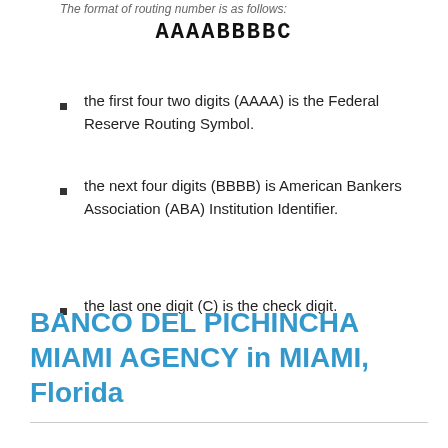The format of routing number is as follows:
the first four two digits (AAAA) is the Federal Reserve Routing Symbol.
the next four digits (BBBB) is American Bankers Association (ABA) Institution Identifier.
the last one digit (C) is the check digit.
BANCO DEL PICHINCHA MIAMI AGENCY in MIAMI, Florida